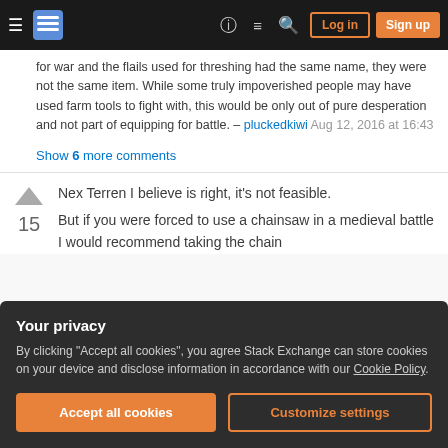Stack Exchange navigation bar with hamburger menu, logo, help, chat, search icons, Log in and Sign up buttons
for war and the flails used for threshing had the same name, they were not the same item. While some truly impoverished people may have used farm tools to fight with, this would be only out of pure desperation and not part of equipping for battle. – pluckedkiwi Aug 12, 2016 at 16:43
Show 6 more comments
Nex Terren I believe is right, it's not feasible.
But if you were forced to use a chainsaw in a medieval battle I would recommend taking the chain
Your privacy
By clicking "Accept all cookies", you agree Stack Exchange can store cookies on your device and disclose information in accordance with our Cookie Policy.
Accept all cookies   Customize settings